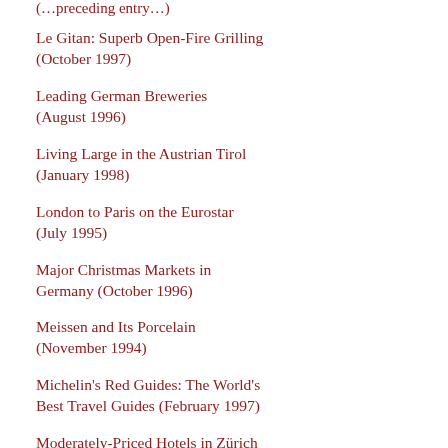(…preceding text truncated…)
Le Gitan: Superb Open-Fire Grilling (October 1997)
Leading German Breweries (August 1996)
Living Large in the Austrian Tirol (January 1998)
London to Paris on the Eurostar (July 1995)
Major Christmas Markets in Germany (October 1996)
Meissen and Its Porcelain (November 1994)
Michelin's Red Guides: The World's Best Travel Guides (February 1997)
Moderately-Priced Hotels in Zürich (May 1997)
New German Rail Pricing (March …)